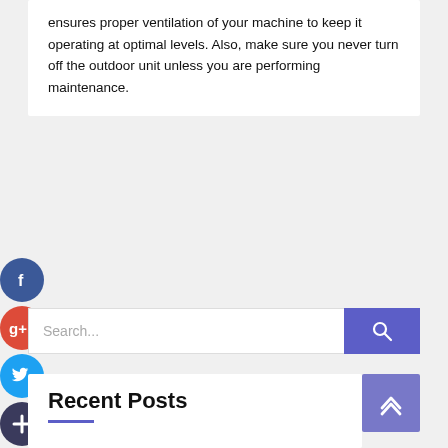ensures proper ventilation of your machine to keep it operating at optimal levels. Also, make sure you never turn off the outdoor unit unless you are performing maintenance.
[Figure (other): Social media icons: Facebook (blue circle), Google+ (red circle), Twitter (blue circle), and a plus/add icon (dark circle)]
[Figure (other): Search bar with text input reading 'Search...' and a purple search button with magnifying glass icon]
Recent Posts
[Figure (other): Back to top button (purple square with upward chevron arrows)]